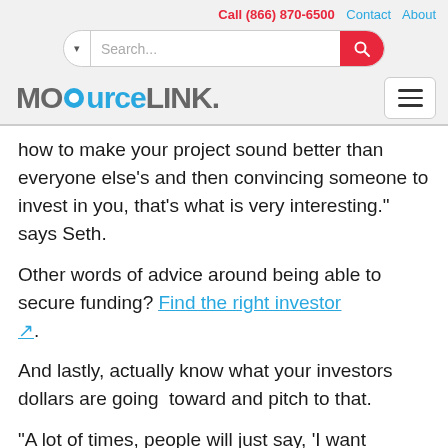Call (866) 870-6500  Contact  About
Search...
MOSourceLINK
how to make your project sound better than everyone else's and then convincing someone to invest in you, that's what is very interesting." says Seth.
Other words of advice around being able to secure funding? Find the right investor ↗.
And lastly, actually know what your investors dollars are going  toward and pitch to that.
"A lot of times, people will just say, 'I want $100,000,' because that's a number that everyone throws out all the time, but how